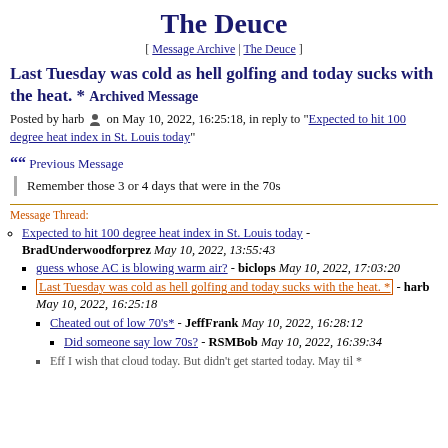The Deuce
[ Message Archive | The Deuce ]
Last Tuesday was cold as hell golfing and today sucks with the heat. * Archived Message
Posted by harb [icon] on May 10, 2022, 16:25:18, in reply to "Expected to hit 100 degree heat index in St. Louis today"
Previous Message
Remember those 3 or 4 days that were in the 70s
Message Thread:
Expected to hit 100 degree heat index in St. Louis today - BradUnderwoodforprez May 10, 2022, 13:55:43
guess whose AC is blowing warm air? - biclops May 10, 2022, 17:03:20
Last Tuesday was cold as hell golfing and today sucks with the heat. * - harb May 10, 2022, 16:25:18
Cheated out of low 70's* - JeffFrank May 10, 2022, 16:28:12
Did someone say low 70s? - RSMBob May 10, 2022, 16:39:34